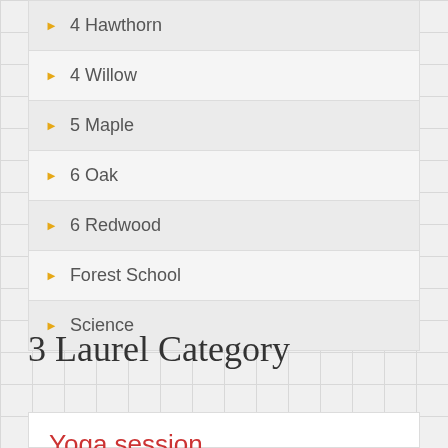4 Hawthorn
4 Willow
5 Maple
6 Oak
6 Redwood
Forest School
Science
3 Laurel Category
Yoga session